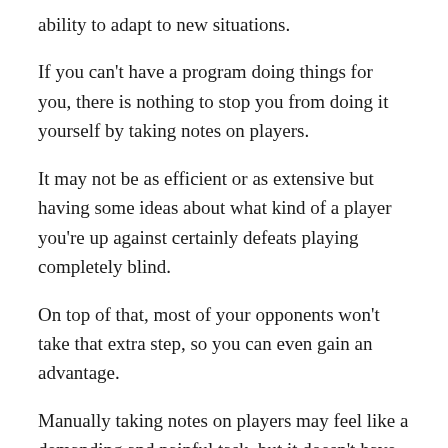ability to adapt to new situations.
If you can't have a program doing things for you, there is nothing to stop you from doing it yourself by taking notes on players.
It may not be as efficient or as extensive but having some ideas about what kind of a player you're up against certainly defeats playing completely blind.
On top of that, most of your opponents won't take that extra step, so you can even gain an advantage.
Manually taking notes on players may feel like a demanding and painful task, but it doesn't have to be.
The goal of this article is to give you some useful guidelines on how to go about your note-taking process, whether you play online or live.